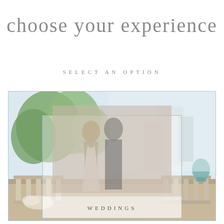choose your experience
SELECT AN OPTION
[Figure (photo): Outdoor wedding venue photo with classical architecture, balustrades, and trees in background. An overlaid smaller photo shows a couple embracing, with a semi-transparent card overlay labeled WEDDINGS.]